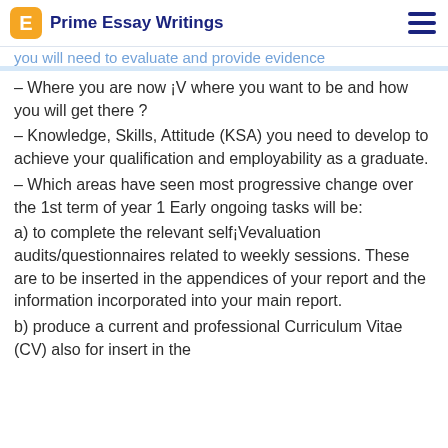Prime Essay Writings
you will need to evaluate and provide evidence (cut off at top)
– Where you are now ¡V where you want to be and how you will get there ?
– Knowledge, Skills, Attitude (KSA) you need to develop to achieve your qualification and employability as a graduate.
– Which areas have seen most progressive change over the 1st term of year 1 Early ongoing tasks will be:
a) to complete the relevant self¡Vevaluation audits/questionnaires related to weekly sessions. These are to be inserted in the appendices of your report and the information incorporated into your main report.
b) produce a current and professional Curriculum Vitae (CV) also for insert in the